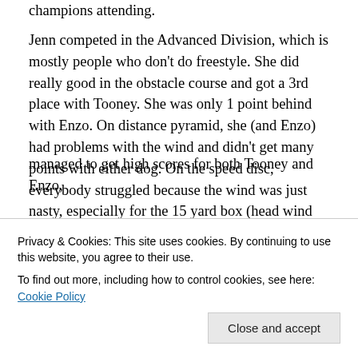champions attending.

Jenn competed in the Advanced Division, which is mostly people who don't do freestyle. She did really good in the obstacle course and got a 3rd place with Tooney. She was only 1 point behind with Enzo. On distance pyramid, she (and Enzo) had problems with the wind and didn't get many points with either dog. On the speed disc, everybody struggled because the wind was just nasty, especially for the 15 yard box (head wind kept taking the disc out of the box). Despite that, Jenn managed to get a 2nd place with
managed to get high scores for both Tooney and Enzo,
Privacy & Cookies: This site uses cookies. By continuing to use this website, you agree to their use.
To find out more, including how to control cookies, see here: Cookie Policy